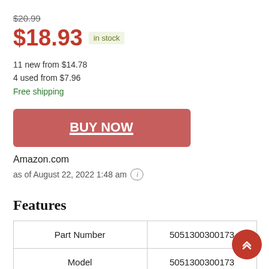$20.99 (strikethrough)
$18.93 in stock
11 new from $14.78
4 used from $7.96
Free shipping
BUY NOW
Amazon.com
as of August 22, 2022 1:48 am
Features
| Part Number |  | Model |  | Is Adult Product |
| --- | --- | --- | --- | --- |
| Part Number | 5051300300173 |
| Model | 5051300300173 |
| Is Adult Product |  |